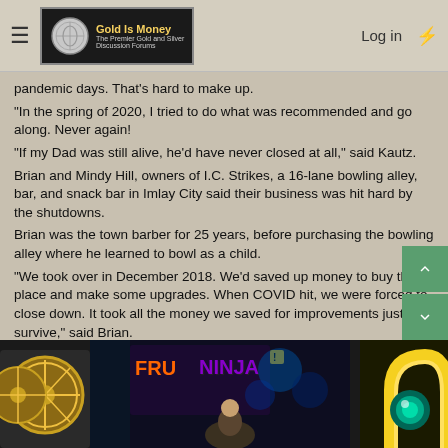Gold Is Money — The Premier Gold and Silver Discussion Forums | Log in
pandemic days. That's hard to make up.
"In the spring of 2020, I tried to do what was recommended and go along. Never again!
"If my Dad was still alive, he'd have never closed at all," said Kautz.
Brian and Mindy Hill, owners of I.C. Strikes, a 16-lane bowling alley, bar, and snack bar in Imlay City said their business was hit hard by the shutdowns.
Brian was the town barber for 25 years, before purchasing the bowling alley where he learned to bowl as a child.
"We took over in December 2018. We'd saved up money to buy this place and make some upgrades. When COVID hit, we were forced to close down. It took all the money we saved for improvements just to survive," said Brian.
The Hills said they never thought they'd see the day when their own government could do something like that to them.
[Figure (photo): Interior of a bowling alley arcade area showing colorful arcade machines including a wheel-of-fortune style game on the left and a Fruit Ninja machine in the background, with a horseshoe-shaped yellow arcade cabinet on the right. A person is partially visible in the scene.]